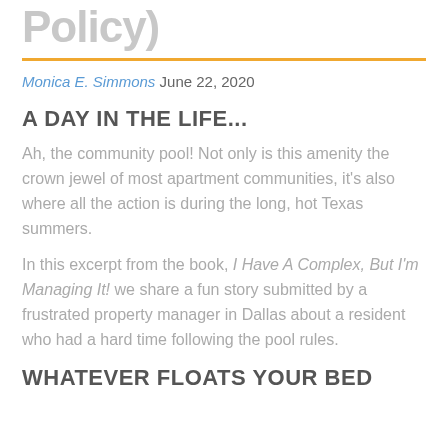Policy)
Monica E. Simmons June 22, 2020
A DAY IN THE LIFE...
Ah, the community pool! Not only is this amenity the crown jewel of most apartment communities, it's also where all the action is during the long, hot Texas summers.
In this excerpt from the book, I Have A Complex, But I'm Managing It! we share a fun story submitted by a frustrated property manager in Dallas about a resident who had a hard time following the pool rules.
WHATEVER FLOATS YOUR BED